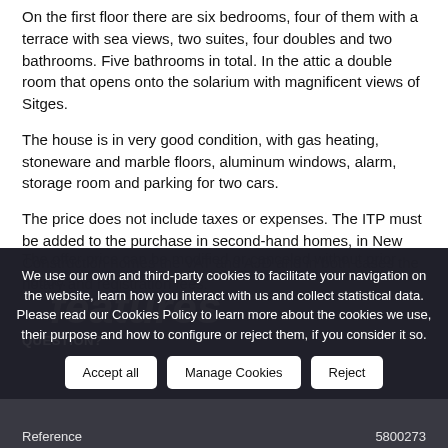On the first floor there are six bedrooms, four of them with a terrace with sea views, two suites, four doubles and two bathrooms. Five bathrooms in total. In the attic a double room that opens onto the solarium with magnificent views of Sitges.
The house is in very good condition, with gas heating, stoneware and marble floors, aluminum windows, alarm, storage room and parking for two cars.
The price does not include taxes or expenses. The ITP must be added to the purchase in second-hand homes, in New Construction homes the VAT and AJD and in both cases the notary and registration fees.
The offer price can be modified or canceled without prior notice.
We use our own and third-party cookies to facilitate your navigation on the website, learn how you interact with us and collect statistical data. Please read our Cookies Policy to learn more about the cookies we use, their purpose and how to configure or reject them, if you consider it so.
features
QUESTION?
Reference  5800273